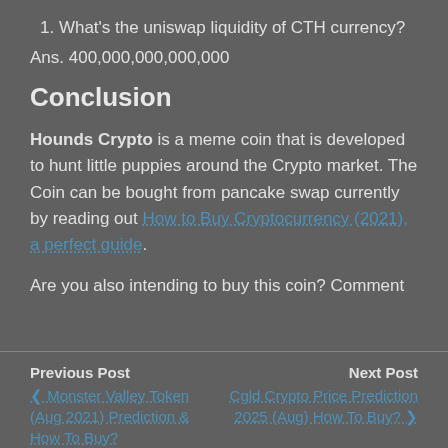1. What's the uniswap liquidity of CTH currency?
Ans. 400,000,000,000,000
Conclusion
Hounds Crypto is a meme coin that is developed to hunt little puppies around the Crypto market. The Coin can be bought from pancake swap currently by reading out How to Buy Cryptocurrency (2021), a perfect guide.
Are you also intending to buy this coin? Comment
Previous Post | Next Post | Monster Valley Token (Aug 2021) Prediction & How To Buy? | Cgld Crypto Price Prediction 2025 (Aug) How To Buy?